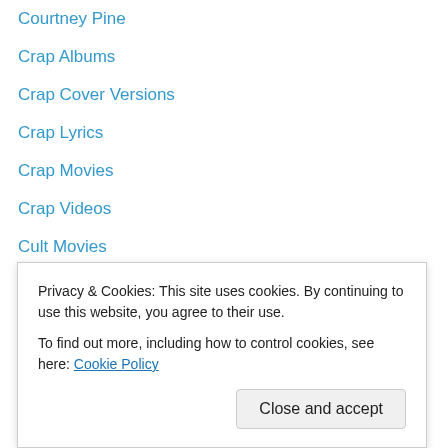Courtney Pine
Crap Albums
Crap Cover Versions
Crap Lyrics
Crap Movies
Crap Videos
Cult Movies
Culture Club
Curiosity Killed The Cat
Cyndi Lauper
Danny Wilson
Daryl Hall
David Bowie
David Hasselhoff
De La Soul
Privacy & Cookies: This site uses cookies. By continuing to use this website, you agree to their use. To find out more, including how to control cookies, see here: Cookie Policy